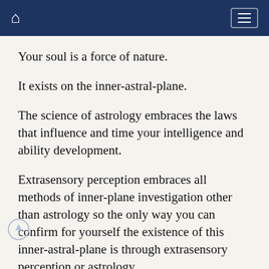Home | Menu
Your soul is a force of nature.
It exists on the inner-astral-plane.
The science of astrology embraces the laws that influence and time your intelligence and ability development.
Extrasensory perception embraces all methods of inner-plane investigation other than astrology so the only way you can confirm for yourself the existence of this inner-astral-plane is through extrasensory perception or astrology.